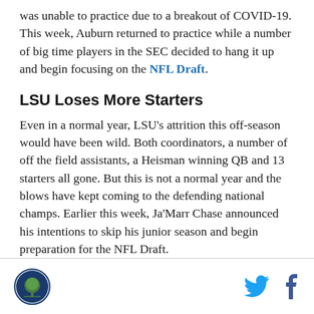was unable to practice due to a breakout of COVID-19. This week, Auburn returned to practice while a number of big time players in the SEC decided to hang it up and begin focusing on the NFL Draft.
LSU Loses More Starters
Even in a normal year, LSU’s attrition this off-season would have been wild. Both coordinators, a number of off the field assistants, a Heisman winning QB and 13 starters all gone. But this is not a normal year and the blows have kept coming to the defending national champs. Earlier this week, Ja’Marr Chase announced his intentions to skip his junior season and begin preparation for the NFL Draft.
Logo and social media icons